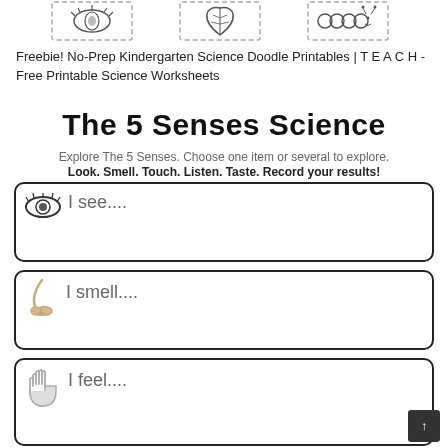[Figure (illustration): Row of dashed-border cut-out images: eye/face doodle, feather/leaf, caterpillar/worm, and a seed/pod icon — kindergarten science doodle printable clip art]
Freebie! No-Prep Kindergarten Science Doodle Printables | T E A C H - Free Printable Science Worksheets
The 5 Senses Science
Explore The 5 Senses. Choose one item or several to explore.
Look. Smell. Touch. Listen. Taste. Record your results!
I see....
I smell....
I feel....